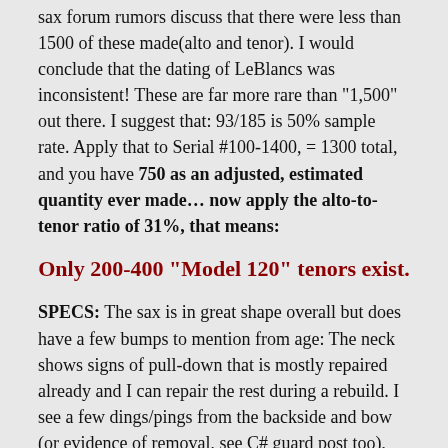sax forum rumors discuss that there were less than 1500 of these made(alto and tenor). I would conclude that the dating of LeBlancs was inconsistent! These are far more rare than "1,500" out there. I suggest that: 93/185 is 50% sample rate. Apply that to Serial #100-1400, = 1300 total, and you have 750 as an adjusted, estimated quantity ever made... now apply the alto-to-tenor ratio of 31%, that means:
Only 200-400 "Model 120" tenors exist.
SPECS: The sax is in great shape overall but does have a few bumps to mention from age: The neck shows signs of pull-down that is mostly repaired already and I can repair the rest during a rebuild. I see a few dings/pings from the backside and bow (or evidence of removal, see C# guard post too), there is a resolder on the bell-to-body brace and a slight indent inside the bell, sadly. I don't see any